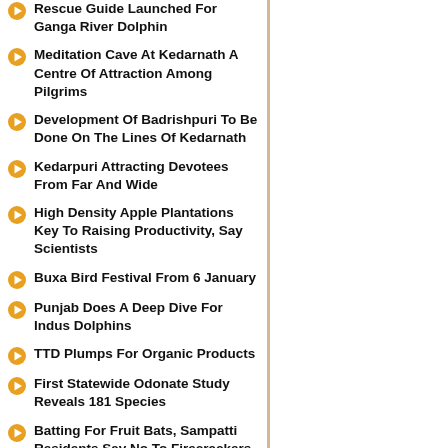Rescue Guide Launched For Ganga River Dolphin
Meditation Cave At Kedarnath A Centre Of Attraction Among Pilgrims
Development Of Badrishpuri To Be Done On The Lines Of Kedarnath
Kedarpuri Attracting Devotees From Far And Wide
High Density Apple Plantations Key To Raising Productivity, Say Scientists
Buxa Bird Festival From 6 January
Punjab Does A Deep Dive For Indus Dolphins
TTD Plumps For Organic Products
First Statewide Odonate Study Reveals 181 Species
Batting For Fruit Bats, Sampatti Residents Say No To Firecrackers
Assam: Kameng River Turns Black, Mudslide Suspected